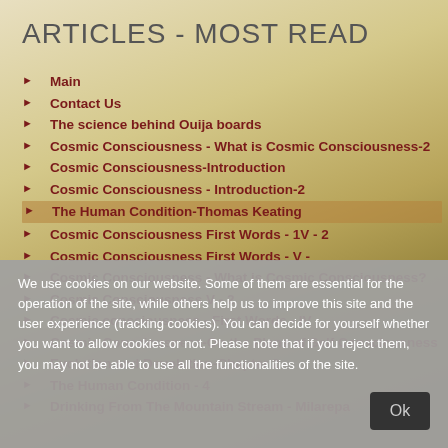ARTICLES - MOST READ
Main
Contact Us
The science behind Ouija boards
Cosmic Consciousness - What is Cosmic Consciousness-2
Cosmic Consciousness-Introduction
Cosmic Consciousness - Introduction-2
The Human Condition-Thomas Keating
Cosmic Consciousness First Words - 1V - 2
Cosmic Consciousness First Words - V -
Cosmic Consciousness - What is Cosmic Consciousness?
Cosmic Consciousness V - 2
Cosmic consciousness - First Words - IV
Cosmic Consciousness-On the Plane of Self Consciousness
Evolution and Devolution-Chapter 2
The Human Condition - 4
Drinking From The Mountain Stream - Milarepa
We use cookies on our website. Some of them are essential for the operation of the site, while others help us to improve this site and the user experience (tracking cookies). You can decide for yourself whether you want to allow cookies or not. Please note that if you reject them, you may not be able to use all the functionalities of the site.